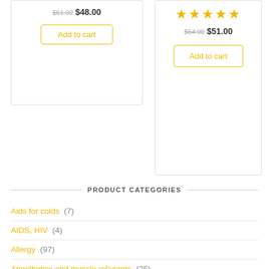$61.00 $48.00
Add to cart
[Figure (other): Five gold stars rating]
$64.00 $51.00
Add to cart
PRODUCT CATEGORIES
Aids for colds (7)
AIDS, HIV (4)
Allergy (97)
Anesthetics and muscle relaxants (25)
Angioprotectors and microcirculation correctors (94)